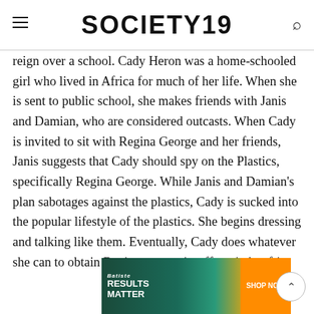SOCIETY19
reign over a school. Cady Heron was a home-schooled girl who lived in Africa for much of her life. When she is sent to public school, she makes friends with Janis and Damian, who are considered outcasts. When Cady is invited to sit with Regina George and her friends, Janis suggests that Cady should spy on the Plastics, specifically Regina George. While Janis and Damian's plan sabotages against the plastics, Cady is sucked into the popular lifestyle of the plastics. She begins dressing and talking like them. Eventually, Cady does whatever she can to obtain Reginas on-again-off-again boyfri...
[Figure (other): Baliste advertisement banner with text 'RESULTS MATTER' and 'SHOP NOW' button on orange background]